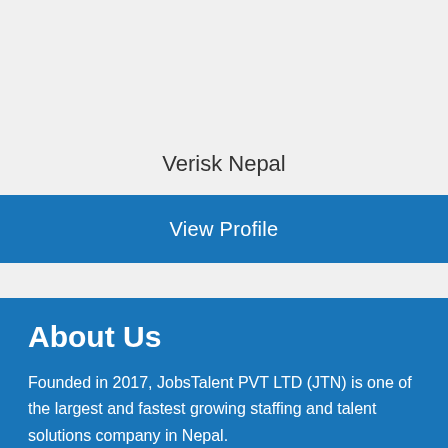Verisk Nepal
View Profile
About Us
Founded in 2017, JobsTalent PVT LTD (JTN) is one of the largest and fastest growing staffing and talent solutions company in Nepal.
Services
We provide unrivalled HR Solutions in Nepal and has the